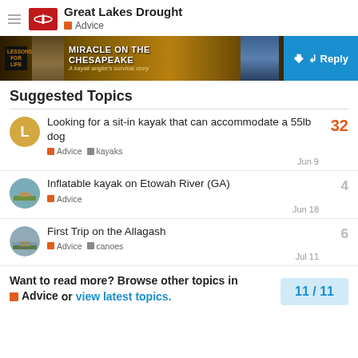Great Lakes Drought — Advice
[Figure (photo): Banner advertisement for 'Miracle on the Chesapeake: A kayak angler's survival story' with Reply button]
Suggested Topics
Looking for a sit-in kayak that can accommodate a 55lb dog — Advice, kayaks — Jun 9 — 32 replies
Inflatable kayak on Etowah River (GA) — Advice — Jun 18 — 4 replies
First Trip on the Allagash — Advice, canoes — Jul 11 — 6 replies
Want to read more? Browse other topics in Advice or view latest topics.
11 / 11